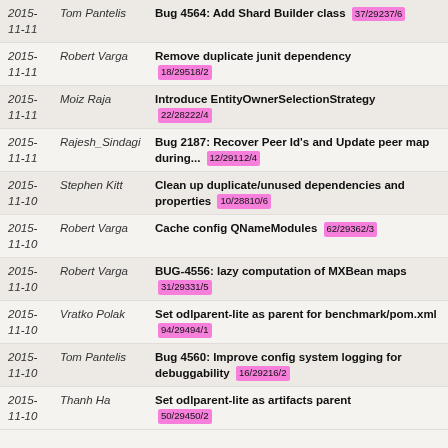2015-11-11 | Tom Pantelis | Bug 4564: Add Shard Builder class 37/29237/6
2015-11-11 | Robert Varga | Remove duplicate junit dependency 18/29518/2
2015-11-11 | Moiz Raja | Introduce EntityOwnerSelectionStrategy 22/28222/4
2015-11-11 | Rajesh_Sindagi | Bug 2187: Recover Peer Id's and Update peer map during... 12/29112/4
2015-11-10 | Stephen Kitt | Clean up duplicate/unused dependencies and properties 10/28810/6
2015-11-10 | Robert Varga | Cache config QNameModules 62/29362/3
2015-11-10 | Robert Varga | BUG-4556: lazy computation of MXBean maps 31/29331/5
2015-11-10 | Vratko Polak | Set odlparent-lite as parent for benchmark/pom.xml 94/29494/1
2015-11-10 | Tom Pantelis | Bug 4560: Improve config system logging for debuggability 16/29216/2
2015-11-10 | Thanh Ha | Set odlparent-lite as artifacts parent 50/29450/2